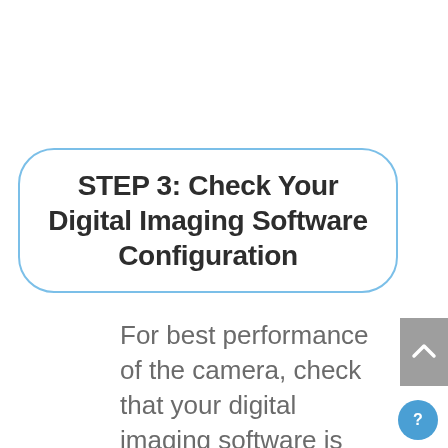STEP 3: Check Your Digital Imaging Software Configuration
For best performance of the camera, check that your digital imaging software is